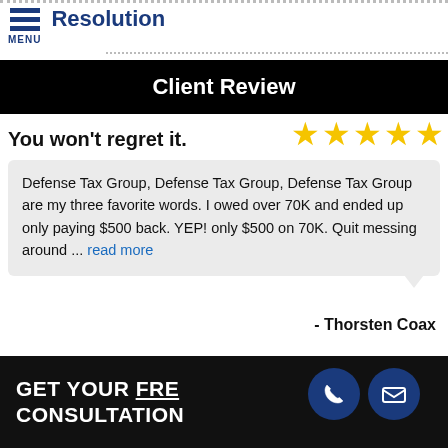Resolution MENU
Client Review
You won't regret it.
[Figure (other): Five gold star rating]
Defense Tax Group, Defense Tax Group, Defense Tax Group are my three favorite words. I owed over 70K and ended up only paying $500 back. YEP! only $500 on 70K. Quit messing around ... read more
- Thorsten Coax
GET YOUR FREE CONSULTATION